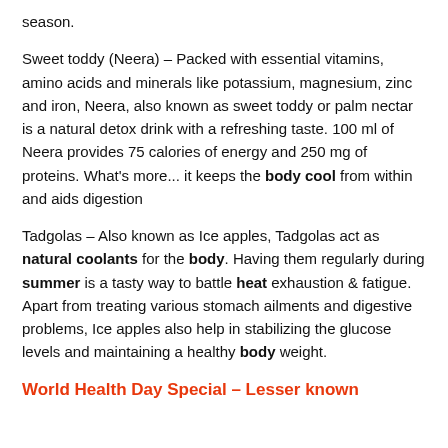season.
Sweet toddy (Neera) – Packed with essential vitamins, amino acids and minerals like potassium, magnesium, zinc and iron, Neera, also known as sweet toddy or palm nectar is a natural detox drink with a refreshing taste. 100 ml of Neera provides 75 calories of energy and 250 mg of proteins. What's more... it keeps the body cool from within and aids digestion
Tadgolas – Also known as Ice apples, Tadgolas act as natural coolants for the body. Having them regularly during summer is a tasty way to battle heat exhaustion & fatigue. Apart from treating various stomach ailments and digestive problems, Ice apples also help in stabilizing the glucose levels and maintaining a healthy body weight.
World Health Day Special – Lesser known